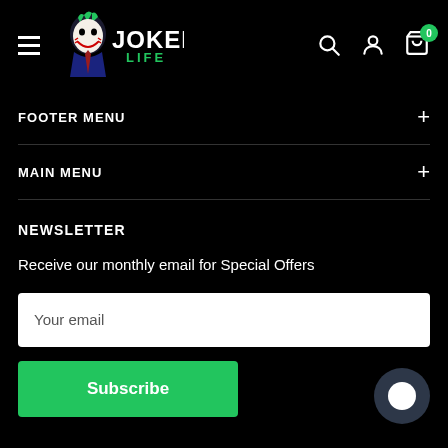Joker Life — navigation header with hamburger menu, logo, search, account, and cart icons
FOOTER MENU +
MAIN MENU +
NEWSLETTER
Receive our monthly email for Special Offers
Your email
Subscribe